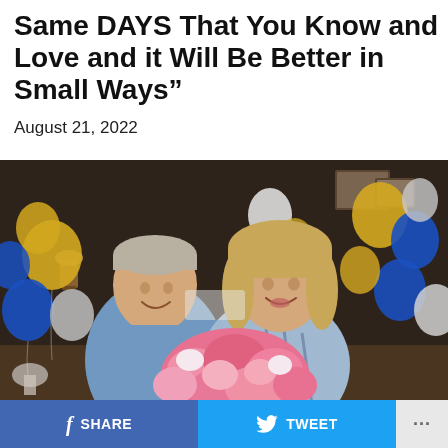Same DAYS That You Know and Love and it Will Be Better in Small Ways”
August 21, 2022
[Figure (photo): A man and woman standing together in front of gold, blue, and white balloons. The woman holds a large bouquet of pink peonies. Both are smiling. The man wears a blue shirt; the woman wears a blue-and-white striped top.]